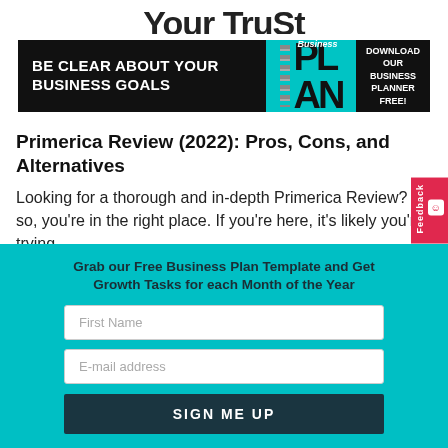Your TruSt
[Figure (infographic): Black banner ad: 'BE CLEAR ABOUT YOUR BUSINESS GOALS' on left, teal business plan book graphic in center with spiral binding, 'DOWNLOAD OUR BUSINESS PLANNER FREE!' on right]
Primerica Review (2022): Pros, Cons, and Alternatives
Looking for a thorough and in-depth Primerica Review? If so, you're in the right place. If you're here, it's likely you're trying
Grab our Free Business Plan Template and Get Growth Tasks for each Month of the Year
First Name
E-mail address
SIGN ME UP